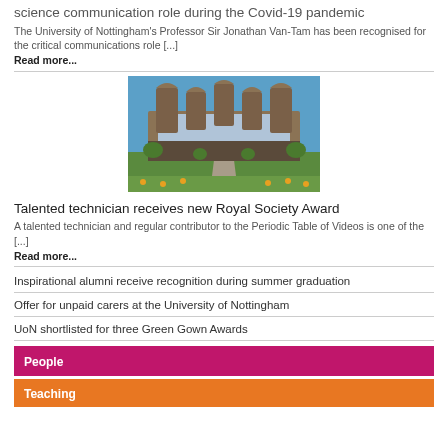science communication role during the Covid-19 pandemic
The University of Nottingham's Professor Sir Jonathan Van-Tam has been recognised for the critical communications role [...]
Read more...
[Figure (photo): University building with modern curved architecture, blue sky, green lawn and a central walkway path]
Talented technician receives new Royal Society Award
A talented technician and regular contributor to the Periodic Table of Videos is one of the [...]
Read more...
Inspirational alumni receive recognition during summer graduation
Offer for unpaid carers at the University of Nottingham
UoN shortlisted for three Green Gown Awards
People
Teaching